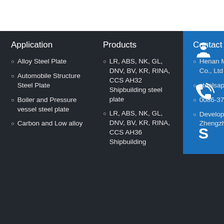Application
Alloy Steel Plate
Automobile Structure Steel Plate
Boiler and Pressure vessel steel plate
Carbon and Low alloy
Products
LR, ABS, NK, GL, DNV, BV, KR, RINA, CCS AH32 Shipbuilding steel plate
LR, ABS, NK, GL, DNV, BV, KR, RINA, CCS AH36 Shipbuilding
Contact US
Henan Mottok Steel Co., Ltd
steelsapr@outl
0086-371-86 1827
Development Zone, Zhengzhou, China